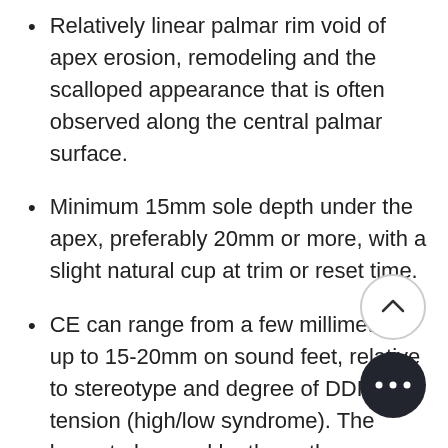Relatively linear palmar rim void of apex erosion, remodeling and the scalloped appearance that is often observed along the central palmar surface.
Minimum 15mm sole depth under the apex, preferably 20mm or more, with a slight natural cup at trim or reset time.
CE can range from a few millimeters up to 15-20mm on sound feet, relative to stereotype and degree of DDFT tension (high/low syndrome). The largest observed by the author on a